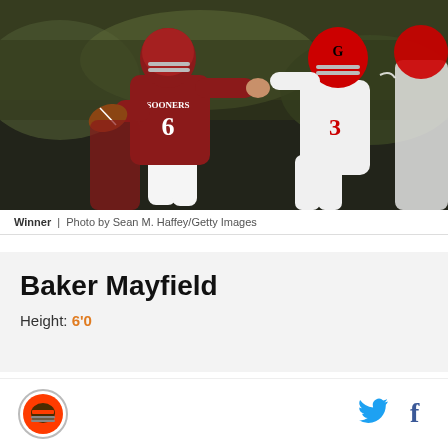[Figure (photo): Baker Mayfield (#6) in Oklahoma Sooners red uniform running with the football while a Georgia Bulldogs defender (#3) in white attempts to tackle him. Action shot from a college football game.]
Winner  |  Photo by Sean M. Haffey/Getty Images
Baker Mayfield
Height: 6'0
[Figure (logo): Cleveland Browns helmet logo in circular format]
[Figure (logo): Twitter bird icon in blue]
[Figure (logo): Facebook f icon in dark color]